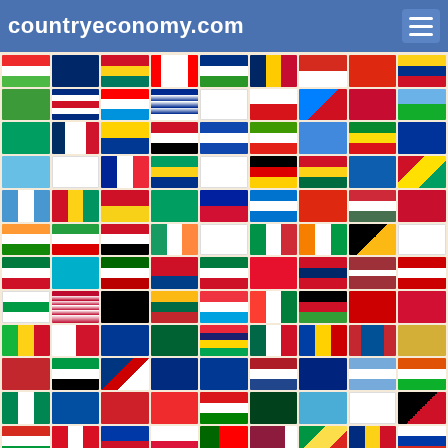countryeconomy.com
[Figure (other): Grid of world country flags displayed on countryeconomy.com website, showing flags from Myanmar, Cambodia, Cameroon, Canada, Central African Republic, Chad, Chile, China, Colombia, Comoros, Costa Rica, Croatia, Cuba, Cyprus, Czech Republic, DR Congo, Denmark, Djibouti, Dominica, Dominican Republic, Ecuador, Egypt, El Salvador, Equatorial Guinea, Eritrea, Ethiopia, EU, Fiji, Finland, France, Gabon, Georgia, Germany, Ghana, Greece, Grenada, Guatemala, Guinea, Guinea-Bissau, Guyana, Haiti, Honduras, Hong Kong, Hungary, Hungary/Norway, India, Iran, Iraq, Ireland, Israel, Italy, Ivory Coast, Jamaica, Japan, Jordan, Kazakhstan, Kenya, Kiribati, Kuwait, Kyrgyzstan, Laos, Latvia, Lebanon, Lesotho, Liberia, Libya, Lithuania, Luxembourg, Madagascar, Malawi, Malaysia, Maldives, Mali, Malta, Marshall Islands, Mauritania, Mauritius, Mexico, Moldova, Mongolia, Montenegro, Morocco, Mozambique, Namibia, Nauru, Nepal, Netherlands, New Zealand, Nicaragua, Niger, Nigeria, North Korea, North Macedonia, Norway, Oman, Pakistan, Palau, Panama, Papua New Guinea, Paraguay, Peru, Philippines, Poland, Portugal, Qatar, Republic of Congo, Romania, Russia, Rwanda, Saint Kitts and Nevis, Saint Lucia, Saint Vincent, Samoa, San Marino, Sao Tome and Principe, Saudi Arabia, Senegal, Serbia, Seychelles, and more]